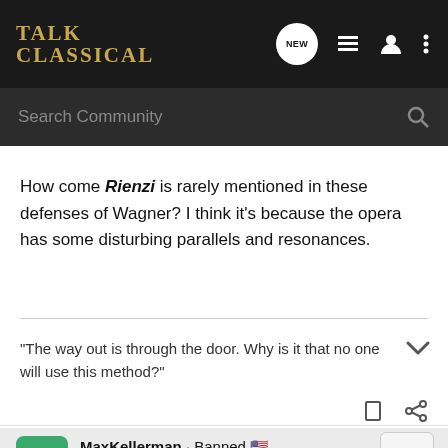Talk Classical
How come Rienzi is rarely mentioned in these defenses of Wagner? I think it's because the opera has some disturbing parallels and resonances.
"The way out is through the door. Why is it that no one will use this method?"
MaxKellerman · Banned
Joined Jun 4, 2017 · 77 Posts
#182 · Feb 12, 2021